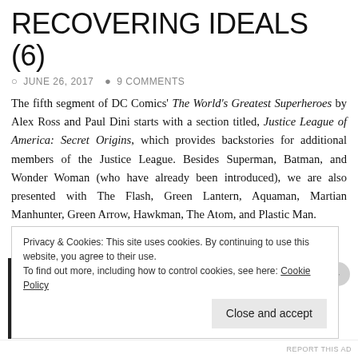RECOVERING IDEALS (6)
JUNE 26, 2017   9 COMMENTS
The fifth segment of DC Comics' The World's Greatest Superheroes by Alex Ross and Paul Dini starts with a section titled, Justice League of America: Secret Origins, which provides backstories for additional members of the Justice League. Besides Superman, Batman, and Wonder Woman (who have already been introduced), we are also presented with The Flash, Green Lantern, Aquaman, Martian Manhunter, Green Arrow, Hawkman, The Atom, and Plastic Man.
Privacy & Cookies: This site uses cookies. By continuing to use this website, you agree to their use. To find out more, including how to control cookies, see here: Cookie Policy